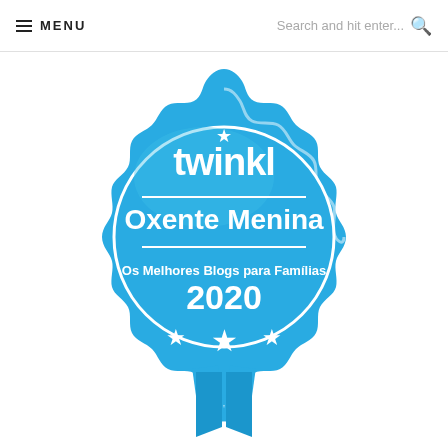MENU | Search and hit enter...
[Figure (logo): Twinkl badge award: 'Oxente Menina - Os Melhores Blogs para Famílias 2020'. A blue scalloped/gear-shaped badge with white text and stars, featuring the Twinkl logo at top, the blog name 'Oxente Menina', subtitle 'Os Melhores Blogs para Famílias', and year '2020', with three stars at the bottom.]